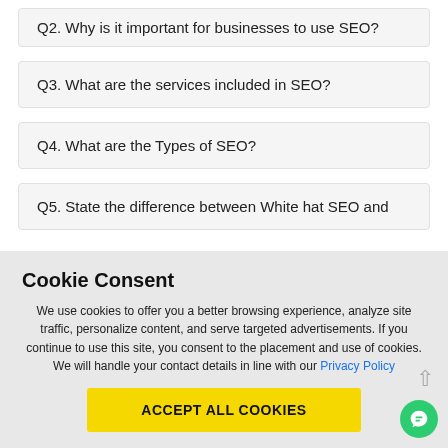Q2. Why is it important for businesses to use SEO?
Q3. What are the services included in SEO?
Q4. What are the Types of SEO?
Q5. State the difference between White hat SEO and
Cookie Consent
We use cookies to offer you a better browsing experience, analyze site traffic, personalize content, and serve targeted advertisements. If you continue to use this site, you consent to the placement and use of cookies. We will handle your contact details in line with our Privacy Policy
ACCEPT ALL COOKIES